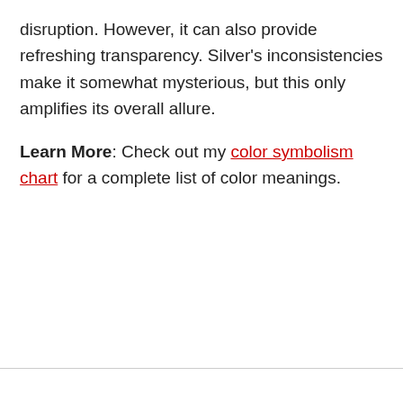disruption. However, it can also provide refreshing transparency. Silver's inconsistencies make it somewhat mysterious, but this only amplifies its overall allure.
Learn More: Check out my color symbolism chart for a complete list of color meanings.